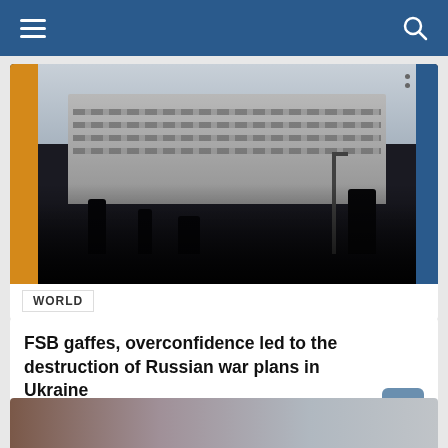Navigation bar with menu and search icons
[Figure (photo): Grayscale photo of a large neoclassical government building (likely FSB/Lubyanka headquarters in Moscow) with silhouettes of pedestrians in the foreground. The image has decorative gold/amber vertical bar on the left and blue vertical bar on the right. Three dots appear in the upper right corner. A 'WORLD' label tag is overlaid at the bottom left of the image area.]
FSB gaffes, overconfidence led to the destruction of Russian war plans in Ukraine
August 19, 2022 / Aygen
[Figure (photo): Partial view of another article card with an image at the bottom of the page, cut off.]